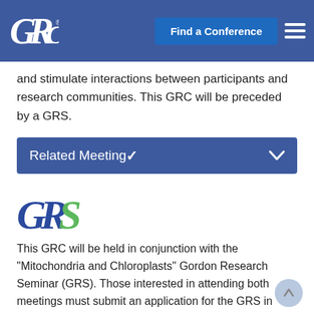GRC — Find a Conference
and stimulate interactions between participants and research communities. This GRC will be preceded by a GRS.
Related Meeting
[Figure (logo): GRS Gordon Research Seminars logo in blue and green]
This GRC will be held in conjunction with the "Mitochondria and Chloroplasts" Gordon Research Seminar (GRS). Those interested in attending both meetings must submit an application for the GRS in addition to an application for the GRC. Refer to the associated GRS program page for more information.